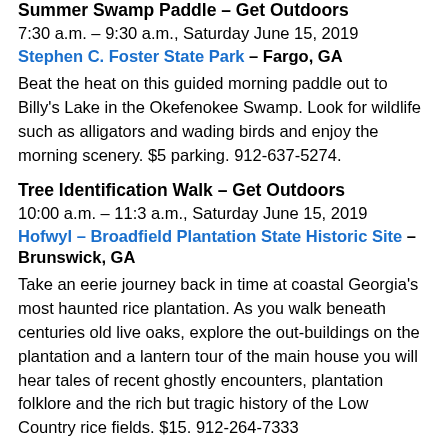Summer Swamp Paddle – Get Outdoors
7:30 a.m. – 9:30 a.m., Saturday June 15, 2019
Stephen C. Foster State Park – Fargo, GA
Beat the heat on this guided morning paddle out to Billy's Lake in the Okefenokee Swamp. Look for wildlife such as alligators and wading birds and enjoy the morning scenery. $5 parking. 912-637-5274.
Tree Identification Walk – Get Outdoors
10:00 a.m. – 11:3 a.m., Saturday June 15, 2019
Hofwyl – Broadfield Plantation State Historic Site – Brunswick, GA
Take an eerie journey back in time at coastal Georgia's most haunted rice plantation. As you walk beneath centuries old live oaks, explore the out-buildings on the plantation and a lantern tour of the main house you will hear tales of recent ghostly encounters, plantation folklore and the rich but tragic history of the Low Country rice fields. $15. 912-264-7333
Walking the Gopher Tortoise Road